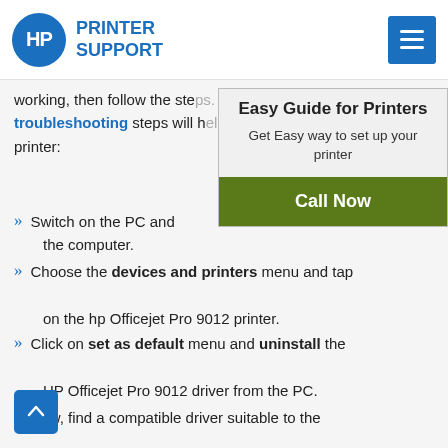HP PRINTER SUPPORT
working, then follow the steps. These HP Printer troubleshooting steps will help you in recovering the printer:
[Figure (infographic): Popup overlay with title 'Easy Guide for Printers', subtitle 'Get Easy way to set up your printer', and a green 'Call Now' button]
Switch on the PC and the computer.
Choose the devices and printers menu and tap on the hp Officejet Pro 9012 printer.
Click on set as default menu and uninstall the HP Officejet Pro 9012 driver from the PC.
Now, find a compatible driver suitable to the device OS and download the driver files.